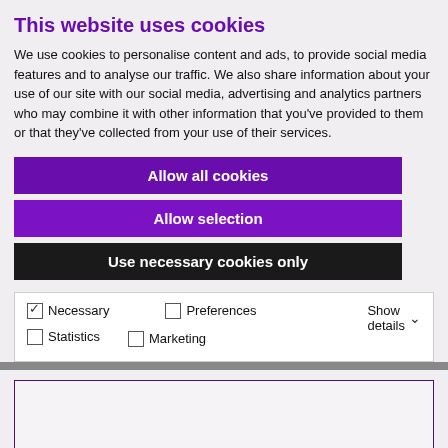This website uses cookies
We use cookies to personalise content and ads, to provide social media features and to analyse our traffic. We also share information about your use of our site with our social media, advertising and analytics partners who may combine it with other information that you've provided to them or that they've collected from your use of their services.
Allow all cookies
Allow selection
Use necessary cookies only
Necessary  Preferences  Statistics  Marketing  Show details
Please change your cookie consent to